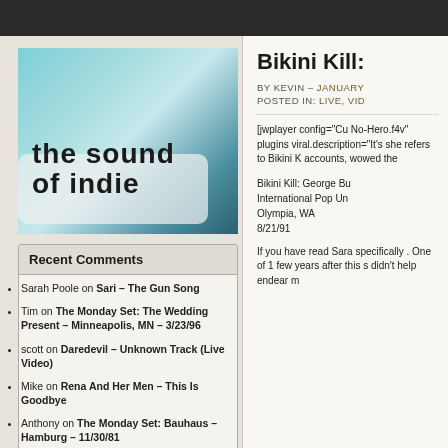[Figure (logo): The Sound of Indie blog logo with guitar background and stylized text]
Recent Comments
Sarah Poole on Sari – The Gun Song
Tim on The Monday Set: The Wedding Present – Minneapolis, MN – 3/23/96
scott on Daredevil – Unknown Track (Live Video)
Mike on Rena And Her Men – This Is Goodbye
Anthony on The Monday Set: Bauhaus – Hamburg – 11/30/81
Search By Band
Bikini Kill:
BY KEVIN – JANUARY
POSTED IN: LIVE, VID
[jwplayer config="Cu No-Hero.f4v" plugins viral.description="It's she refers to Bikini K accounts, wowed the
Bikini Kill: George Bu International Pop Un Olympia, WA 8/21/91
If you have read Sara specifically . One of 1 few years after this s didn't help endear m